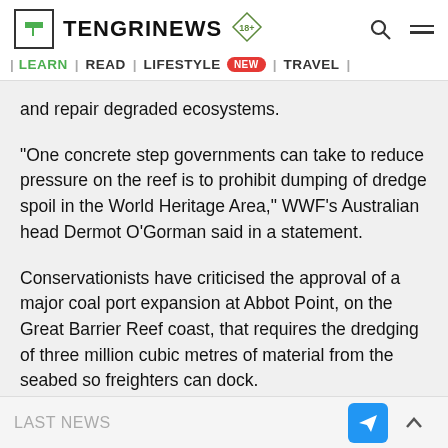TENGRINEWS | LEARN | READ | LIFESTYLE NEW | TRAVEL
and repair degraded ecosystems.
"One concrete step governments can take to reduce pressure on the reef is to prohibit dumping of dredge spoil in the World Heritage Area," WWF's Australian head Dermot O'Gorman said in a statement.
Conservationists have criticised the approval of a major coal port expansion at Abbot Point, on the Great Barrier Reef coast, that requires the dredging of three million cubic metres of material from the seabed so freighters can dock.
LAST NEWS